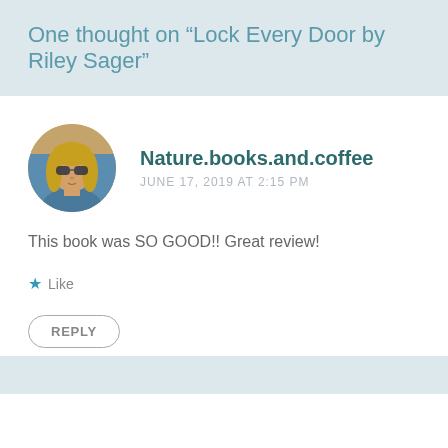One thought on “Lock Every Door by Riley Sager”
[Figure (photo): Circular avatar photo of a blonde woman wearing sunglasses]
Nature.books.and.coffee
JUNE 17, 2019 AT 2:15 PM
This book was SO GOOD!! Great review!
★ Like
REPLY